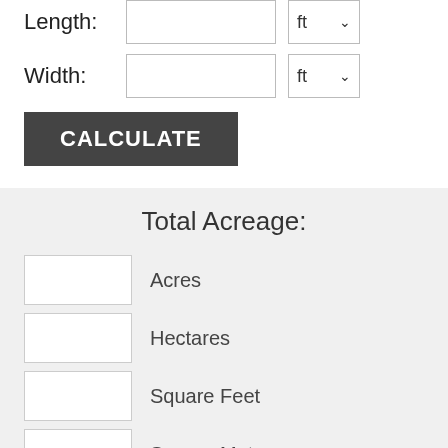Length:
Width:
CALCULATE
Total Acreage:
Acres
Hectares
Square Feet
Square Meters
Square Miles
Square Kilometers
Perimeter in Feet